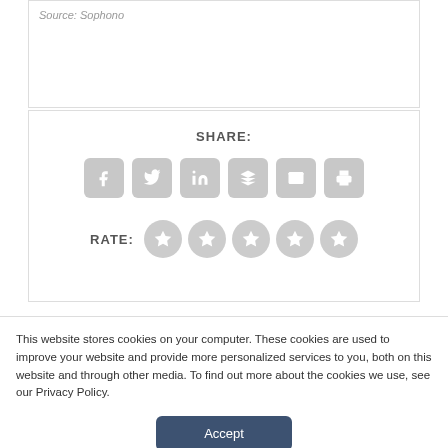Source: Sophono
[Figure (infographic): Share and rate widget with social media icons (Facebook, Twitter, LinkedIn, Buffer, Email, Print) and 5 star rating circles]
This website stores cookies on your computer. These cookies are used to improve your website and provide more personalized services to you, both on this website and through other media. To find out more about the cookies we use, see our Privacy Policy.
Accept